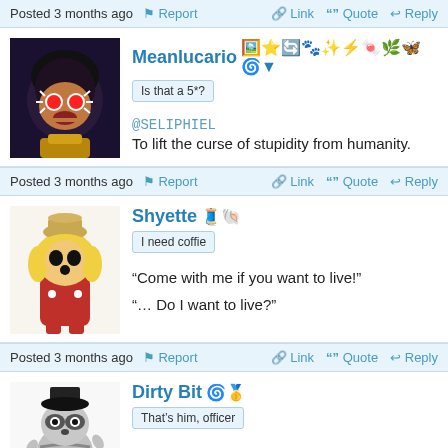Posted 3 months ago | Report | Link | Quote | Reply
Meanlucario
Is that a 5*?
@SELIPHIEL
To lift the curse of stupidity from humanity.
Posted 3 months ago | Report | Link | Quote | Reply
Shyette
I need coffie
“Come with me if you want to live!”
“… Do I want to live?”
Posted 3 months ago | Report | Link | Quote | Reply
Dirty Bit
That’s him, officer
“I thought you were going to sing about growing up in Connecticut!”